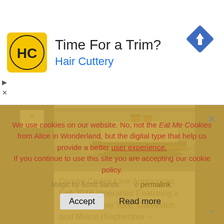[Figure (infographic): Hair Cuttery advertisement banner with yellow HC logo, title 'Time For a Trim?', subtitle 'Hair Cuttery', and navigation diamond icon]
[Figure (photo): Disney cruise ship sailing on water with city skyline in background]
Disney Cruise Line Announces Fall 2016 Itineraries Featuring a Return to New York, Galveston and Miami (September – December)
We use cookies on our website. No, not the Eat Me Cookies from Alice in Wonderland, but the digital type that help us provide a better user experience. If you continue to use this site you are accepting our cookie policy.
Magic by Scott Sands the permalink.